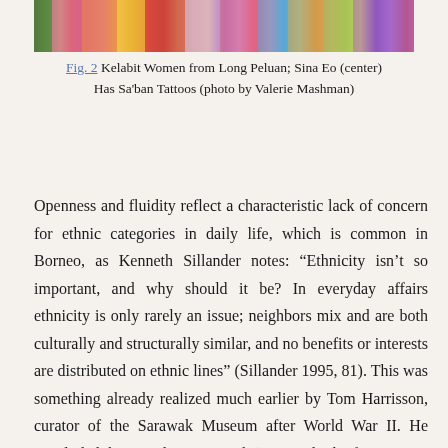[Figure (photo): Colorful strip photograph showing Kelabit Women in bright patterned clothing]
Fig. 2 Kelabit Women from Long Peluan; Sina Eo (center) Has Sa'ban Tattoos (photo by Valerie Mashman)
Openness and fluidity reflect a characteristic lack of concern for ethnic categories in daily life, which is common in Borneo, as Kenneth Sillander notes: “Ethnicity isn’t so important, and why should it be? In everyday affairs ethnicity is only rarely an issue; neighbors mix and are both culturally and structurally similar, and no benefits or interests are distributed on ethnic lines” (Sillander 1995, 81). This was something already realized much earlier by Tom Harrisson, curator of the Sarawak Museum after World War II. He concluded that people in Sarawak “cannot think of